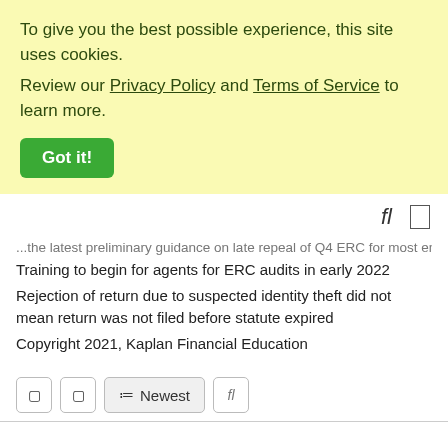To give you the best possible experience, this site uses cookies. Review our Privacy Policy and Terms of Service to learn more.
Got it!
...the latest preliminary guidance on late repeal of Q4 ERC for most employers
Training to begin for agents for ERC audits in early 2022
Rejection of return due to suspected identity theft did not mean return was not filed before statute expired
Copyright 2021, Kaplan Financial Education
Newest
Loading...